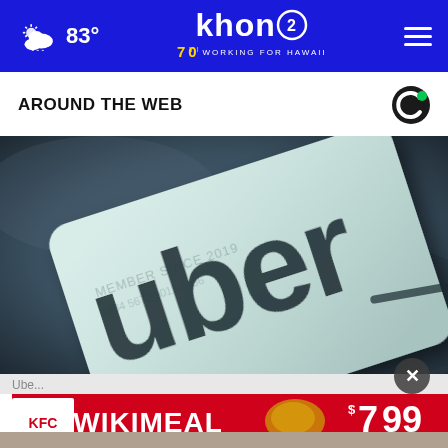KHON2 — 83° Working for Hawaii
AROUND THE WEB
[Figure (photo): Close-up photo of an Uber business card on a dark surface, showing the Uber logo in large dark letters on a light teal/white card]
Ube...
[Figure (photo): KFC WIKIMEAL advertisement banner showing fried chicken and price $7.99]